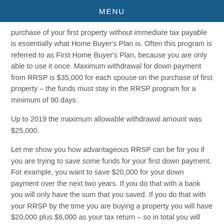MENU
purchase of your first property without immediate tax payable is essentially what Home Buyer's Plan is. Often this program is referred to as First Home Buyer's Plan, because you are only able to use it once. Maximum withdrawal for down payment from RRSP is $35,000 for each spouse on the purchase of first property – the funds must stay in the RRSP program for a minimum of 90 days.
Up to 2019 the maximum allowable withdrawal amount was $25,000.
Let me show you how advantageous RRSP can be for you if you are trying to save some funds for your first down payment. For example, you want to save $20,000 for your down payment over the next two years. If you do that with a bank you will only have the sum that you saved. If you do that with your RRSP by the time you are buying a property you will have $20,000 plus $6,000 as your tax return – so in total you will save $26,000 (with approximate income of